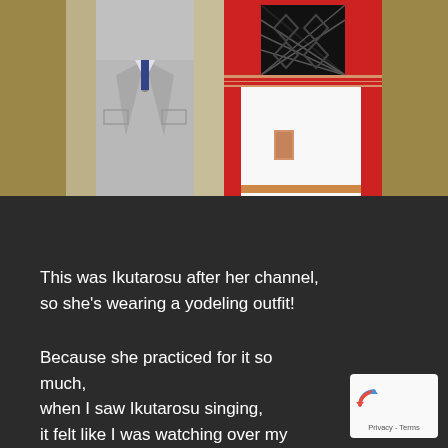[Figure (photo): Two people standing side by side. On the left, a person in a light grey suit. On the right, a person in a traditional red and white folk/yodeling costume with a decorative black cross-pattern vest and white apron with red trim. Sparkling/glittery background behind them.]
This was Ikutarosu after her channel, so she's wearing a yodeling outfit!
Because she practiced for it so much, when I saw Ikutarosu singing, it felt like I was watching over my first grandchild!